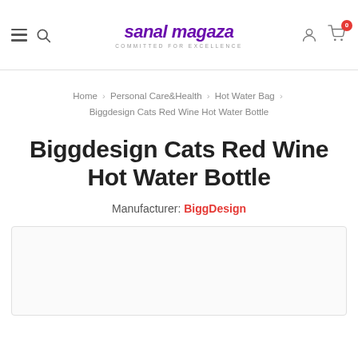sanal magaza — COMMITTED FOR EXCELLENCE
Home > Personal Care&Health > Hot Water Bag > Biggdesign Cats Red Wine Hot Water Bottle
Biggdesign Cats Red Wine Hot Water Bottle
Manufacturer: BiggDesign
[Figure (other): Product image placeholder box with light border]